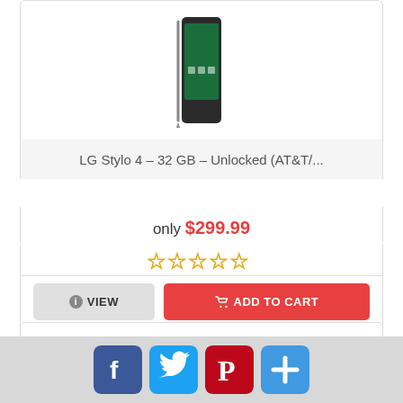[Figure (photo): LG Stylo 4 smartphone with stylus pen, shown from front]
LG Stylo 4 – 32 GB – Unlocked (AT&T/...
only $299.99
[Figure (other): 5-star rating widget, all stars empty/gold outline]
VIEW
ADD TO CART
[Figure (photo): White wireless earbuds / true wireless headphones product photo]
[Figure (other): Social share buttons: Facebook, Twitter, Pinterest, Plus/Share]